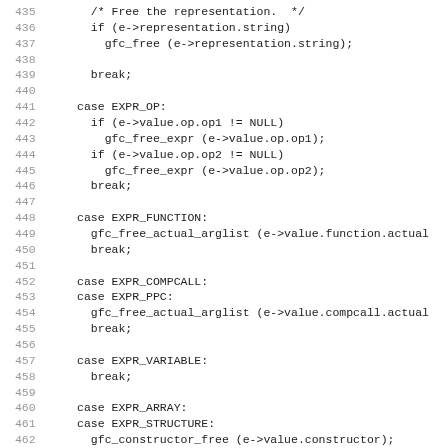[Figure (screenshot): Source code listing showing lines 435-466 of a C/C++ file with switch-case statements handling expression type freeing, including cases for EXPR_OP, EXPR_FUNCTION, EXPR_COMPCALL, EXPR_PPC, EXPR_VARIABLE, EXPR_ARRAY, EXPR_STRUCTURE, and EXPR_SUBSTRING.]